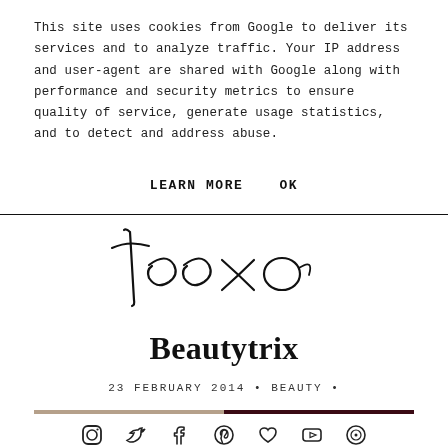This site uses cookies from Google to deliver its services and to analyze traffic. Your IP address and user-agent are shared with Google along with performance and security metrics to ensure quality of service, generate usage statistics, and to detect and address abuse.
LEARN MORE    OK
[Figure (logo): Teexo script logo in cursive handwriting style]
Beautytrix
23 FEBRUARY 2014 • BEAUTY •
[Figure (infographic): Two-tone horizontal rule, tan left half and dark burgundy right half]
[Figure (infographic): Row of social media icons: Instagram, Twitter, Facebook, Pinterest, heart, YouTube, circle target]